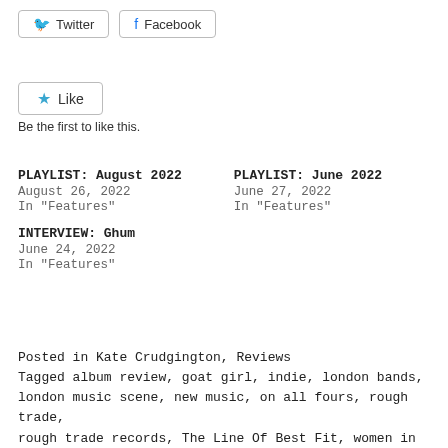Twitter  Facebook (social share buttons)
Like
Be the first to like this.
PLAYLIST: August 2022
August 26, 2022
In "Features"
PLAYLIST: June 2022
June 27, 2022
In "Features"
INTERVIEW: Ghum
June 24, 2022
In "Features"
Posted in Kate Crudgington, Reviews
Tagged album review, goat girl, indie, london bands, london music scene, new music, on all fours, rough trade, rough trade records, The Line Of Best Fit, women in music